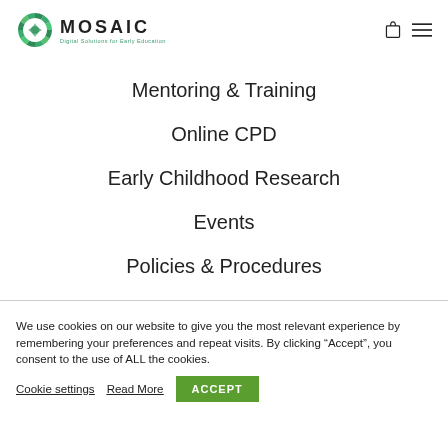[Figure (logo): Mosaic logo with circular green/teal mosaic icon and text MOSAIC Digital Solutions for Early Education]
Mentoring & Training
Online CPD
Early Childhood Research
Events
Policies & Procedures
We use cookies on our website to give you the most relevant experience by remembering your preferences and repeat visits. By clicking “Accept”, you consent to the use of ALL the cookies.
Cookie settings   Read More   ACCEPT